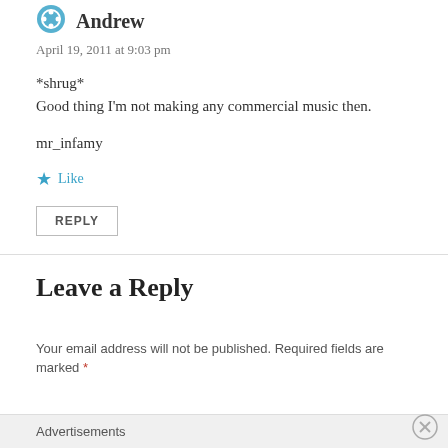[Figure (logo): Teal circular avatar/logo icon for user Andrew]
Andrew
April 19, 2011 at 9:03 pm
*shrug*
Good thing I'm not making any commercial music then.
mr_infamy
★ Like
REPLY
Leave a Reply
Your email address will not be published. Required fields are marked *
Advertisements